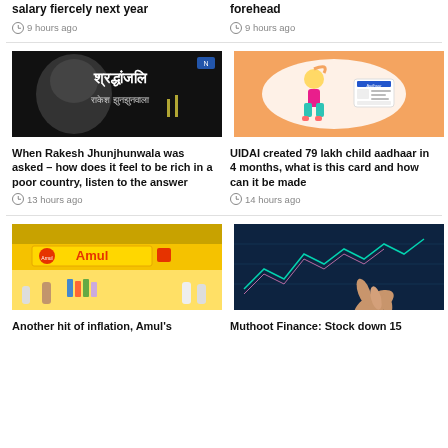salary fiercely next year
9 hours ago
forehead
9 hours ago
[Figure (photo): Black and white photo with Hindi text 'Shradhanjali Rakesh Jhunjhunwala' — tribute image with candles and flowers]
[Figure (illustration): Cartoon girl with Aadhaar card on orange background]
When Rakesh Jhunjhunwala was asked – how does it feel to be rich in a poor country, listen to the answer
13 hours ago
UIDAI created 79 lakh child aadhaar in 4 months, what is this card and how can it be made
14 hours ago
[Figure (photo): Amul store/booth with yellow signage and people shopping]
[Figure (photo): Stock market chart with finger pointing at glowing candlestick chart]
Another hit of inflation, Amul's
Muthoot Finance: Stock down 15